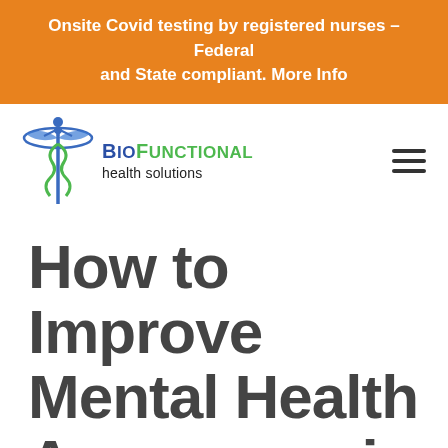Onsite Covid testing by registered nurses – Federal and State compliant. More Info
[Figure (logo): BioFunctional Health Solutions logo with caduceus/medical symbol icon in blue and green, company name 'BioFunctional health solutions' in blue and green text]
How to Improve Mental Health Awareness in